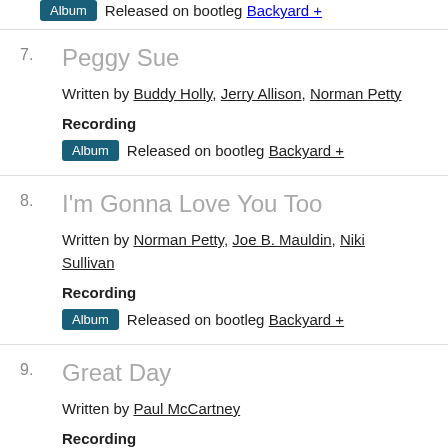Album Released on bootleg Backyard +
7. Peggy Sue
Written by Buddy Holly, Jerry Allison, Norman Petty
Recording
Album Released on bootleg Backyard +
8. I'm Gonna Love You Too
Written by Norman Petty, Joe B. Mauldin, Niki Sullivan
Recording
Album Released on bootleg Backyard +
9. Great Day
Written by Paul McCartney
Recording
Album Released on bootleg Backyard +